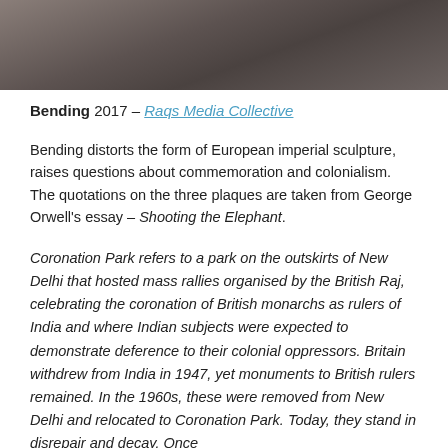[Figure (photo): Cropped bottom portion of a photograph showing a dark floor or surface with angular lines]
Bending 2017 – Raqs Media Collective
Bending distorts the form of European imperial sculpture, raises questions about commemoration and colonialism. The quotations on the three plaques are taken from George Orwell's essay – Shooting the Elephant.
Coronation Park refers to a park on the outskirts of New Delhi that hosted mass rallies organised by the British Raj, celebrating the coronation of British monarchs as rulers of India and where Indian subjects were expected to demonstrate deference to their colonial oppressors. Britain withdrew from India in 1947, yet monuments to British rulers remained. In the 1960s, these were removed from New Delhi and relocated to Coronation Park. Today, they stand in disrepair and decay. Once